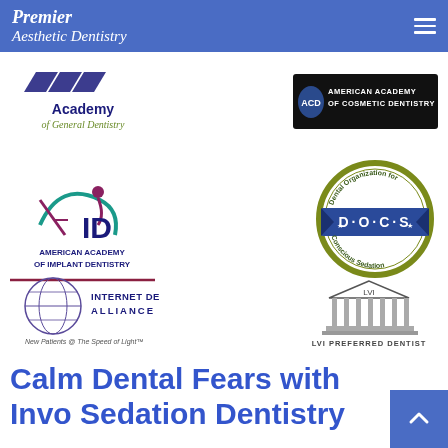Premier Aesthetic Dentistry
[Figure (logo): Academy of General Dentistry logo with stylized chevron mark, text: Academy of General Dentistry]
[Figure (logo): American Academy of Cosmetic Dentistry logo with badge mark]
[Figure (logo): American Academy of Implant Dentistry (AAID) logo with figure and letter mark]
[Figure (logo): D.O.C.S Dental Organization for Conscious Sedation circular badge logo]
[Figure (logo): Internet Dental Alliance logo with globe: New Patients @ The Speed of Light]
[Figure (logo): LVI Preferred Dentist logo with temple/columns illustration]
Calm Dental Fears with Invo Sedation Dentistry